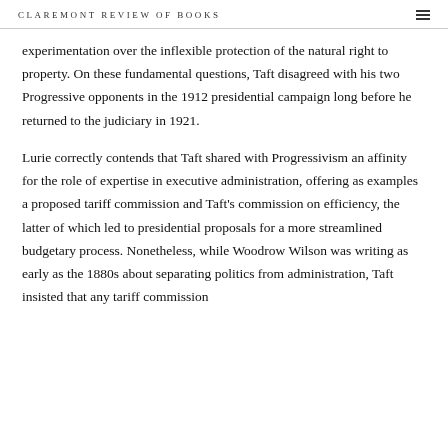CLAREMONT REVIEW OF BOOKS
experimentation over the inflexible protection of the natural right to property. On these fundamental questions, Taft disagreed with his two Progressive opponents in the 1912 presidential campaign long before he returned to the judiciary in 1921.
Lurie correctly contends that Taft shared with Progressivism an affinity for the role of expertise in executive administration, offering as examples a proposed tariff commission and Taft's commission on efficiency, the latter of which led to presidential proposals for a more streamlined budgetary process. Nonetheless, while Woodrow Wilson was writing as early as the 1880s about separating politics from administration, Taft insisted that any tariff commission